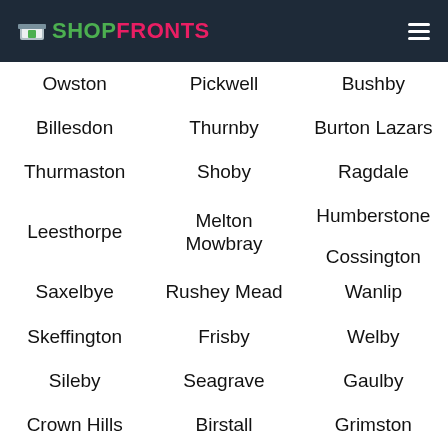SHOPFRONTS
Owston
Pickwell
Bushby
Billesdon
Thurnby
Burton Lazars
Thurmaston
Shoby
Ragdale
Leesthorpe
Melton Mowbray
Humberstone
Cossington
Saxelbye
Rushey Mead
Wanlip
Skeffington
Frisby
Welby
Sileby
Seagrave
Gaulby
Crown Hills
Birstall
Grimston